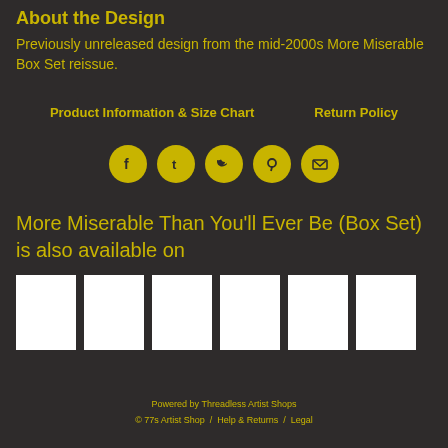About the Design
Previously unreleased design from the mid-2000s More Miserable Box Set reissue.
Product Information & Size Chart     Return Policy
[Figure (infographic): Row of 5 social media share icons (Facebook, Tumblr, Twitter, Pinterest, Email) as yellow circles with dark symbols]
More Miserable Than You'll Ever Be (Box Set) is also available on
[Figure (infographic): Row of 6 white thumbnail product images]
Powered by Threadless Artist Shops
© 77s Artist Shop  /  Help & Returns  /  Legal